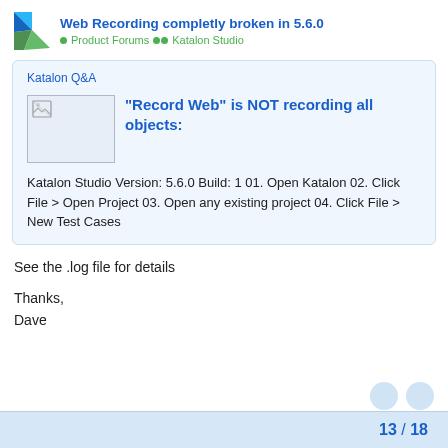Web Recording completly broken in 5.6.0 • Product Forums •• Katalon Studio
Katalon Q&A
[Figure (screenshot): Broken image placeholder thumbnail]
"Record Web" is NOT recording all objects:
Katalon Studio Version: 5.6.0 Build: 1 01. Open Katalon 02. Click File > Open Project 03. Open any existing project 04. Click File > New Test Cases
See the .log file for details
Thanks,
Dave
13 / 18